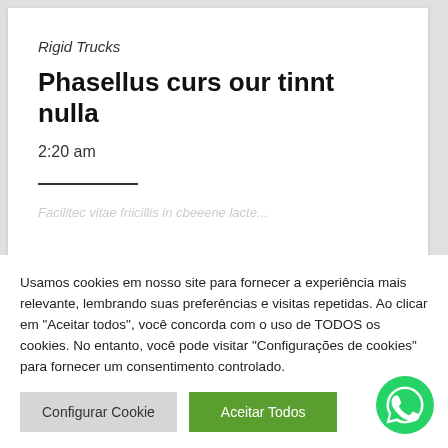Rigid Trucks
Phasellus curs our tinnt nulla
2:20 am
Facilitec vitae friicillis in cbeeene lacte...
Usamos cookies em nosso site para fornecer a experiência mais relevante, lembrando suas preferências e visitas repetidas. Ao clicar em "Aceitar todos", você concorda com o uso de TODOS os cookies. No entanto, você pode visitar "Configurações de cookies" para fornecer um consentimento controlado.
Configurar Cookie
Aceitar Todos